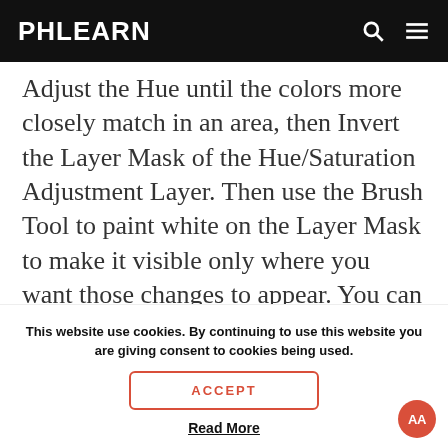PHLEARN
Adjust the Hue until the colors more closely match in an area, then Invert the Layer Mask of the Hue/Saturation Adjustment Layer. Then use the Brush Tool to paint white on the Layer Mask to make it visible only where you want those changes to appear. You can repeat this
This website use cookies. By continuing to use this website you are giving consent to cookies being used.
ACCEPT
Read More